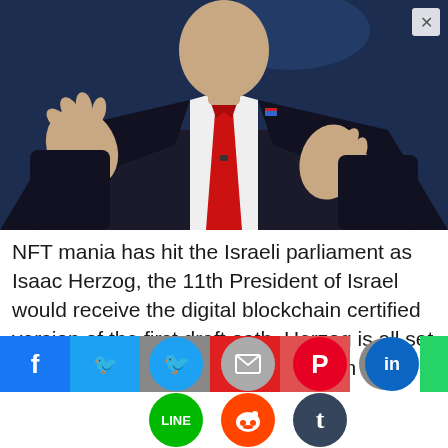[Figure (photo): A man in a dark suit with a red tie, gesturing with his hands, photographed from chest up against a dark blue background.]
NFT mania has hit the Israeli parliament as Isaac Herzog, the 11th President of Israel would receive the digital blockchain certified version of the first draft oath. Herzog is all set to take charge after 87 Knesset members